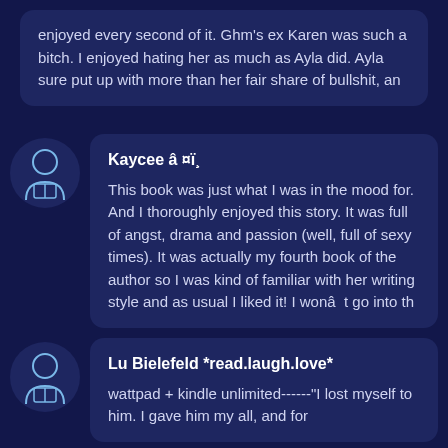enjoyed every second of it. Ghm's ex Karen was such a bitch. I enjoyed hating her as much as Ayla did. Ayla sure put up with more than her fair share of bullshit, an
Kaycee â ¤ï¸
This book was just what I was in the mood for. And I thoroughly enjoyed this story. It was full of angst, drama and passion (well, full of sexy times). It was actually my fourth book of the author so I was kind of familiar with her writing style and as usual I liked it! I wonâ€™t go into th
Lu Bielefeld *read.laugh.love*
wattpad + kindle unlimited------"I lost myself to him. I gave him my all, and for